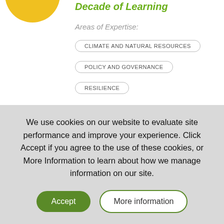[Figure (logo): Yellow semi-circle logo at top left]
Decade of Learning
Areas of Expertise:
CLIMATE AND NATURAL RESOURCES
POLICY AND GOVERNANCE
RESILIENCE
We use cookies on our website to evaluate site performance and improve your experience. Click Accept if you agree to the use of these cookies, or More Information to learn about how we manage information on our site.